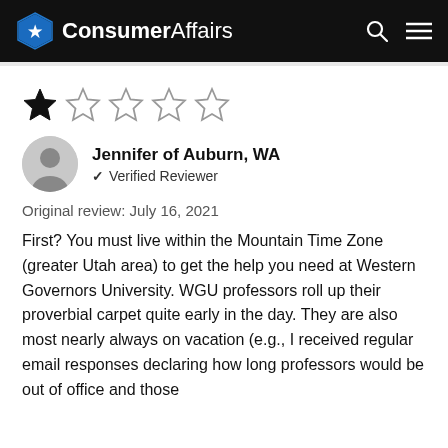ConsumerAffairs
[Figure (other): 1 out of 5 stars rating — one filled star and four empty stars]
Jennifer of Auburn, WA
✓ Verified Reviewer
Original review: July 16, 2021
First? You must live within the Mountain Time Zone (greater Utah area) to get the help you need at Western Governors University. WGU professors roll up their proverbial carpet quite early in the day. They are also most nearly always on vacation (e.g., I received regular email responses declaring how long professors would be out of office and those